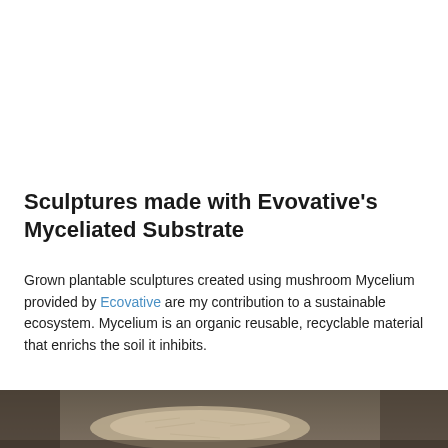Sculptures made with Evovative's Myceliated Substrate
Grown plantable sculptures created using mushroom Mycelium provided by Ecovative are my contribution to a sustainable ecosystem. Mycelium is an organic reusable, recyclable material that enrichs the soil it inhibits.
[Figure (photo): Close-up photograph of a myceliated substrate sculpture — a whitish-beige organic mass with fibrous texture, resting on a gray concrete surface]